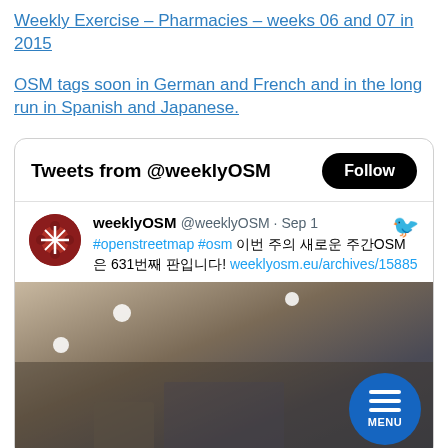Weekly Exercise – Pharmacies – weeks 06 and 07 in 2015
OSM tags soon in German and French and in the long run in Spanish and Japanese.
[Figure (screenshot): Twitter widget showing @weeklyOSM tweet feed with Follow button, a tweet from weeklyOSM dated Sep 1 with hashtags #openstreetmap #osm and a crowd photo, plus a MENU button overlay.]